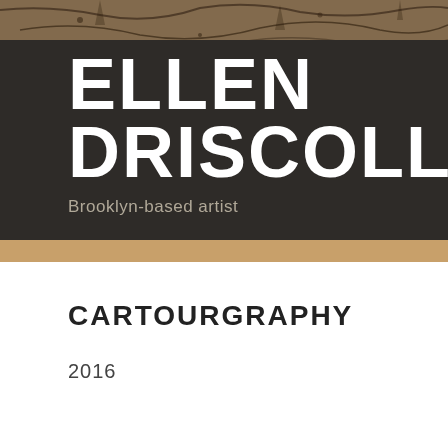[Figure (illustration): Dark artistic illustration/painting with branches and organic shapes, brownish tones, serving as background header image]
ELLEN DRISCOLL
Brooklyn-based artist
CARTOURGRAPHY
2016